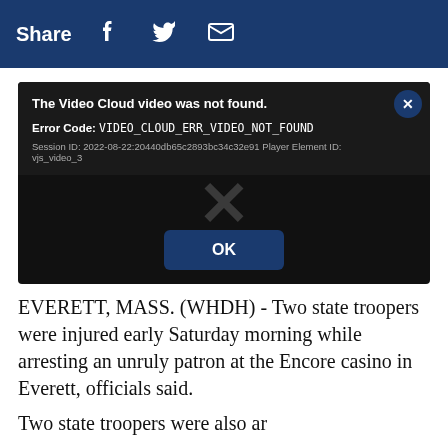Share
[Figure (screenshot): Video player error dialog on dark background. Title: 'The Video Cloud video was not found.' Error Code: VIDEO_CLOUD_ERR_VIDEO_NOT_FOUND. Session ID: 2022-08-22:20440db65c2893bc34c32e91 Player Element ID: vjs_video_3. A large X watermark and an OK button are shown.]
EVERETT, MASS. (WHDH) - Two state troopers were injured early Saturday morning while arresting an unruly patron at the Encore casino in Everett, officials said.